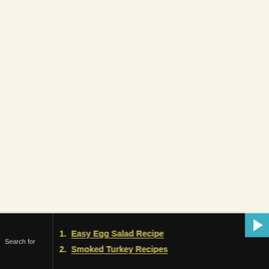Search for
1. Easy Egg Salad Recipe
2. Smoked Turkey Recipes